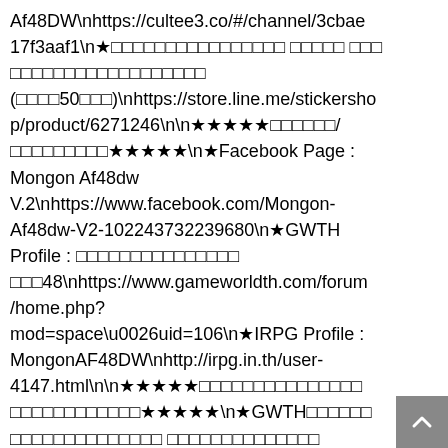Af48DW\nhttps://cultee3.co/#/channel/3cbae17f3aaf1\n★□□□□□□□□□□□□□□□□ □□□□□ □□□□□□□□□□□□□□□□□□□□□□ (□□□□50□□□)\nhttps://store.line.me/stickershop/product/6271246\n\n★★★★★□□□□□□/□□□□□□□□□★★★★★\n★Facebook Page : Mongon Af48dw V.2\nhttps://www.facebook.com/Mongon-Af48dw-V2-102243732239680\n★GWTH Profile : □□□□□□□□□□□□□□□□□48\nhttps://www.gameworldth.com/forum/home.php?mod=space\u0026uid=106\n★IRPG Profile : MongonAF48DW\nhttp://irpg.in.th/user-4147.html\n\n★★★★★□□□□□□□□□□□□□□□□□□□□□□□□□★★★★★\n★GWTH□□□□□□□□□□□□□□□□□□ □□□□□□□□□□□□□□□□□□□□□\nhttp://www.gameworldth.com/forum